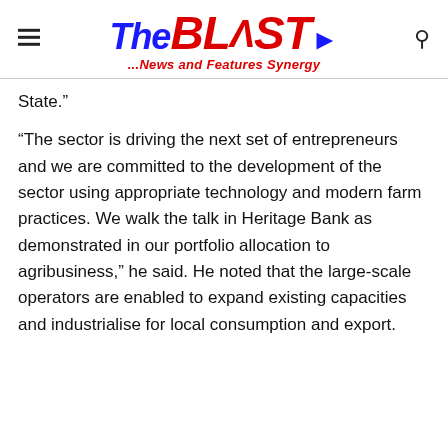TheBLAST ...News and Features Synergy
State.”
“The sector is driving the next set of entrepreneurs and we are committed to the development of the sector using appropriate technology and modern farm practices. We walk the talk in Heritage Bank as demonstrated in our portfolio allocation to agribusiness,” he said. He noted that the large-scale operators are enabled to expand existing capacities and industrialise for local consumption and export.